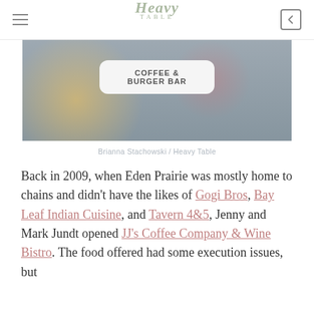Heavy Table
[Figure (photo): Exterior or interior shot of a coffee and burger bar, showing blurred lights and a white rounded sign reading COFFEE & BURGER BAR]
Brianna Stachowski / Heavy Table
Back in 2009, when Eden Prairie was mostly home to chains and didn't have the likes of Gogi Bros, Bay Leaf Indian Cuisine, and Tavern 485, Jenny and Mark Jundt opened JJ's Coffee Company & Wine Bistro. The food offered had some execution issues, but